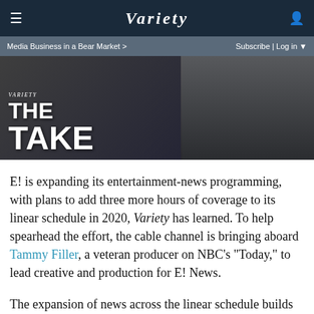VARIETY
Media Business in a Bear Market >   Subscribe | Log in
[Figure (photo): Dark-toned hero image showing 'Variety The Take' title overlay with people in background]
E! is expanding its entertainment-news programming, with plans to add three more hours of coverage to its linear schedule in 2020, Variety has learned. To help spearhead the effort, the cable channel is bringing aboard Tammy Filler, a veteran producer on NBC’s “Today,” to lead creative and production for E! News.
The expansion of news across the linear schedule builds on the NBCUniversal-owned cabler’s success in growing E!